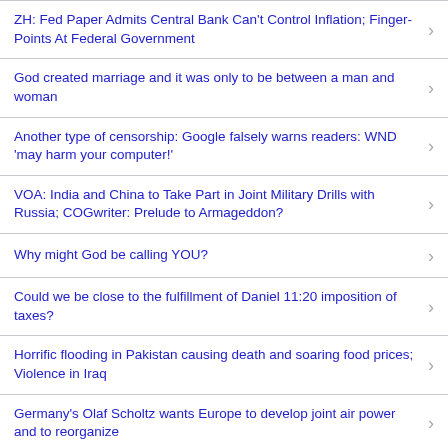ZH: Fed Paper Admits Central Bank Can't Control Inflation; Finger-Points At Federal Government
God created marriage and it was only to be between a man and woman
Another type of censorship: Google falsely warns readers: WND 'may harm your computer!'
VOA: India and China to Take Part in Joint Military Drills with Russia; COGwriter: Prelude to Armageddon?
Why might God be calling YOU?
Could we be close to the fulfillment of Daniel 11:20 imposition of taxes?
Horrific flooding in Pakistan causing death and soaring food prices; Violence in Iraq
Germany's Olaf Scholtz wants Europe to develop joint air power and to reorganize